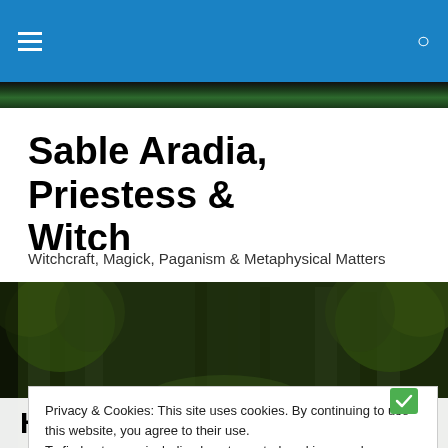Sable Aradia, Priestess & Witch — navigation bar with hamburger menu and search icon
Sable Aradia, Priestess & Witch
Witchcraft, Magick, Paganism & Metaphysical Matters
[Figure (photo): A wooden boardwalk path leading through a dense green forest with tall trees on either side, perspective view into the distance.]
Privacy & Cookies: This site uses cookies. By continuing to use this website, you agree to their use.
To find out more, including how to control cookies, see here: Cookie Policy
Close and accept
Homo economicus?